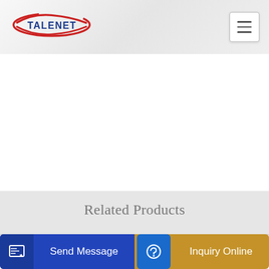TALENET
Related Products
6×4 180hp 9m Cubic Cement Concrete Mixer Truck China
Sinotruk High Quality 6 4 Concrete Mixer Truck Heavy Truck
Send Message
Inquiry Online